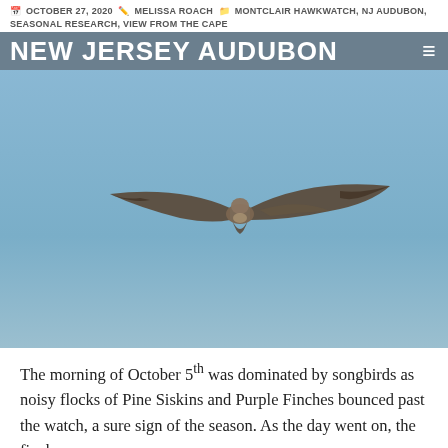OCTOBER 27, 2020  MELISSA ROACH  MONTCLAIR HAWKWATCH, NJ AUDUBON, SEASONAL RESEARCH, VIEW FROM THE CAPE
NEW JERSEY AUDUBON
[Figure (photo): A bird of prey (falcon or hawk) in flight against a clear blue sky, wings spread wide, photographed from below.]
The morning of October 5th was dominated by songbirds as noisy flocks of Pine Siskins and Purple Finches bounced past the watch, a sure sign of the season. As the day went on, the finches